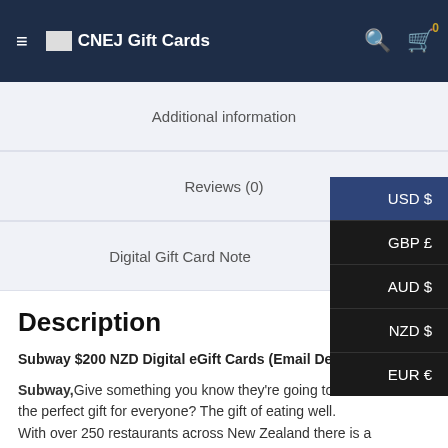CNEJ Gift Cards
Additional information
Reviews (0)
Digital Gift Card Note
Description
Subway $200 NZD Digital eGift Cards (Email Delivery
Subway,Give something you know they're going to love! What's the perfect gift for everyone? The gift of eating well.
With over 250 restaurants across New Zealand there is a Subway® around almost every corner!
Subway eGift Cards cater to any occasion, whether its shouting a colleague lunch, a lifetime supply of cookies or